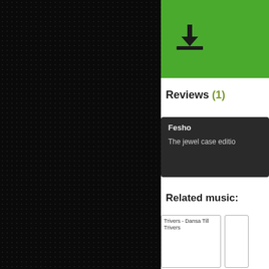[Figure (screenshot): Dark black dotted/textured panel on the left side of the page, taking up roughly 60% of the page width]
[Figure (screenshot): Green download button area with a download arrow icon]
Reviews (1)
Fesho
The jewel case editio
Related music:
Trivers - Dansa Till Trivers